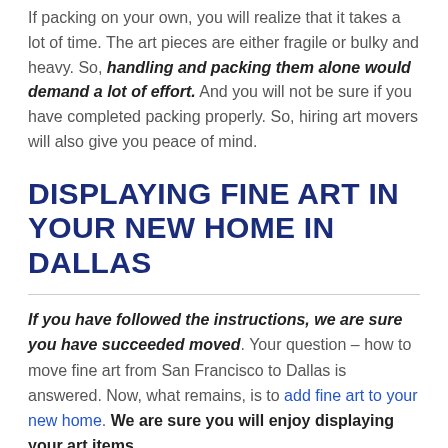If packing on your own, you will realize that it takes a lot of time. The art pieces are either fragile or bulky and heavy. So, handling and packing them alone would demand a lot of effort. And you will not be sure if you have completed packing properly. So, hiring art movers will also give you peace of mind.
DISPLAYING FINE ART IN YOUR NEW HOME IN DALLAS
If you have followed the instructions, we are sure you have succeeded moved. Your question – how to move fine art from San Francisco to Dallas is answered. Now, what remains, is to add fine art to your new home. We are sure you will enjoy displaying your art items.